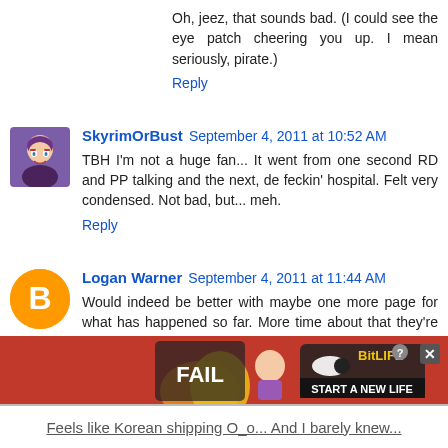Oh, jeez, that sounds bad. (I could see the eye patch cheering you up. I mean seriously, pirate.)
Reply
SkyrimOrBust  September 4, 2011 at 10:52 AM
TBH I'm not a huge fan... It went from one second RD and PP talking and the next, de feckin' hospital. Felt very condensed. Not bad, but... meh.
Reply
Logan Warner  September 4, 2011 at 11:44 AM
Would indeed be better with maybe one more page for what has happened so far. More time about that they're pranking Big Mac (instead of "oh hey Fluttersy's not Big Mac") and including RD initially thinking of a colt as Pinkie's crush (that part was kind of hilarious.)
Reply
[Figure (screenshot): Advertisement banner for BitLife game with FAIL text and character]
Feels like Korean shipping O_o... And I barely knew...